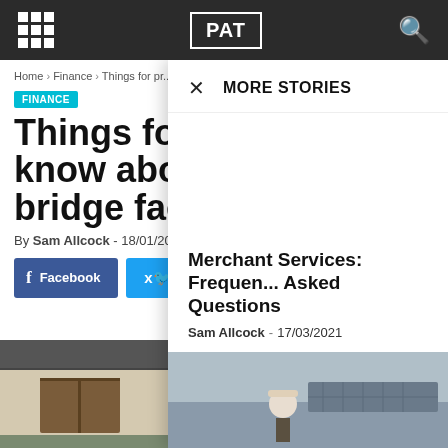PAT
Home > Finance > Things for pr... facilities
FINANCE
Things for pr... know about ... bridge faciliti...
By Sam Allcock - 18/01/2021
Facebook | Twitter
[Figure (photo): House exterior photo background]
× MORE STORIES
Merchant Services: Frequently Asked Questions
Sam Allcock - 17/03/2021
[Figure (photo): Construction worker with hard hat near solar panels on roof]